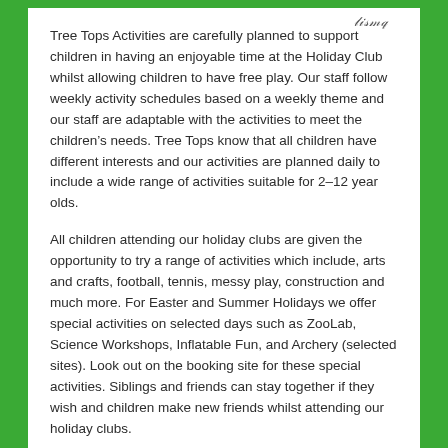Tree Tops Activities are carefully planned to support children in having an enjoyable time at the Holiday Club whilst allowing children to have free play. Our staff follow weekly activity schedules based on a weekly theme and our staff are adaptable with the activities to meet the children's needs. Tree Tops know that all children have different interests and our activities are planned daily to include a wide range of activities suitable for 2–12 year olds.
All children attending our holiday clubs are given the opportunity to try a range of activities which include, arts and crafts, football, tennis, messy play, construction and much more. For Easter and Summer Holidays we offer special activities on selected days such as ZooLab, Science Workshops, Inflatable Fun, and Archery (selected sites). Look out on the booking site for these special activities. Siblings and friends can stay together if they wish and children make new friends whilst attending our holiday clubs.